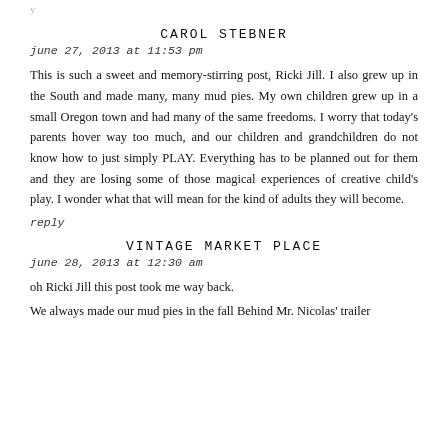(partial top — cropped text from previous comment)
CAROL STEBNER
june 27, 2013 at 11:53 pm
This is such a sweet and memory-stirring post, Ricki Jill. I also grew up in the South and made many, many mud pies. My own children grew up in a small Oregon town and had many of the same freedoms. I worry that today's parents hover way too much, and our children and grandchildren do not know how to just simply PLAY. Everything has to be planned out for them and they are losing some of those magical experiences of creative child's play. I wonder what that will mean for the kind of adults they will become.
reply
VINTAGE MARKET PLACE
june 28, 2013 at 12:30 am
oh Ricki Jill this post took me way back.
We always made our mud pies in the fall Behind Mr. Nicolas' trailer
(partial bottom — cropped text continues)